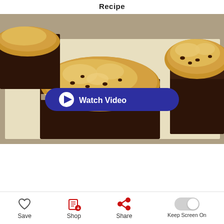Recipe
[Figure (photo): Close-up photo of cookie-topped chocolate brownies (brookies) on parchment paper with a 'Watch Video' button overlay]
Prep 30 Min | Total 5 Hr 30 Min | Servings 30
Triple-layered lusciousness, all in one bar:
Save | Shop | Share | Keep Screen On